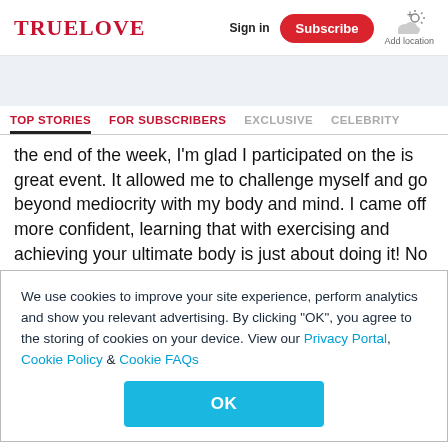TRUELOVE | Sign in | Subscribe | Add location
TOP STORIES | FOR SUBSCRIBERS | EXCLUSIVE | CELEBRITY
the end of the week, I'm glad I participated on the is great event. It allowed me to challenge myself and go beyond mediocrity with my body and mind. I came off more confident, learning that with exercising and achieving your ultimate body is just about doing it! No excuses just get on with it and as the days go by, your body adapts and things
We use cookies to improve your site experience, perform analytics and show you relevant advertising. By clicking "OK", you agree to the storing of cookies on your device. View our Privacy Portal, Cookie Policy & Cookie FAQs
OK